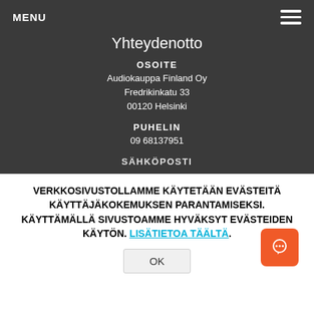MENU
Yhteydenotto
OSOITE
Audiokauppa Finland Oy
Fredrikinkatu 33
00120 Helsinki
PUHELIN
09 68137951
SÄHKÖPOSTI
VERKKOSIVUSTOLLAMME KÄYTETÄÄN EVÄSTEITÄ KÄYTTÄJÄKOKEMUKSEN PARANTAMISEKSI. KÄYTTÄMÄLLÄ SIVUSTOAMME HYVÄKSYT EVÄSTEIDEN KÄYTÖN. LISÄTIETOA TÄÄLTÄ.
OK